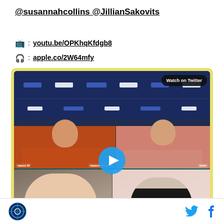@susannahcollins @JillianSakovits
📺: youtu.be/OPKhqKfdgb8
🎧: apple.co/2W64mfy
[Figure (screenshot): Video thumbnail showing four people in a split-screen video call. Top half shows two male soccer players wearing headphones in front of a Compass Minerals branded backdrop. Bottom half shows two female hosts in a 2x2 split. A 'Watch on Twitter' badge appears in the top right. A play button is centered in the middle of the image. The thumbnail has a yellow-green border.]
Soccer podcast logo | Twitter icon | Facebook icon